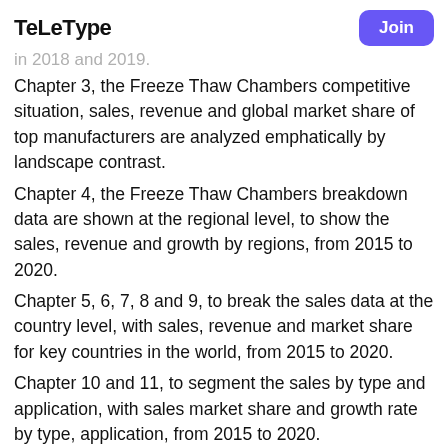teletype | Join
in 2018 and 2019.
Chapter 3, the Freeze Thaw Chambers competitive situation, sales, revenue and global market share of top manufacturers are analyzed emphatically by landscape contrast.
Chapter 4, the Freeze Thaw Chambers breakdown data are shown at the regional level, to show the sales, revenue and growth by regions, from 2015 to 2020.
Chapter 5, 6, 7, 8 and 9, to break the sales data at the country level, with sales, revenue and market share for key countries in the world, from 2015 to 2020.
Chapter 10 and 11, to segment the sales by type and application, with sales market share and growth rate by type, application, from 2015 to 2020.